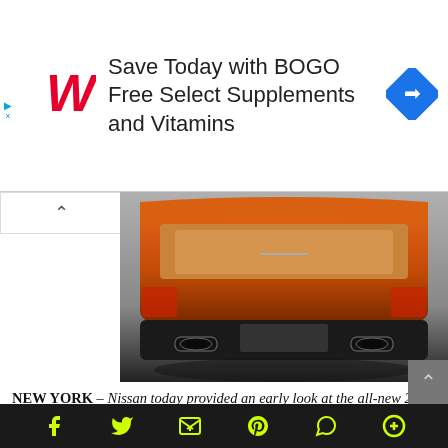[Figure (infographic): Walgreens advertisement banner: red W logo on left, text 'Save Today with BOGO Free Select Supplements and Vitamins' in center, blue diamond navigation icon on right]
[Figure (photo): Rear view of an orange 2015 Nissan Murano SUV with open trunk hatch, showing exhaust pipes and black bumper]
NEW YORK – Nissan today provided an early look at the all-new 2015 Nissan Murano prior to its world debut at the New York International Auto Show. The official reveal takes place on Wednesday, April 16th at a press conference at New York's Jacob Javits Center. The dramatic new Murano will be on display to the public at the show
[Figure (infographic): Bottom navigation bar with social media icons: Facebook, Twitter, email/share, Pinterest, WhatsApp, and plus sign, all in yellow-green on dark background]